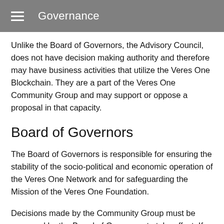Governance
Unlike the Board of Governors, the Advisory Council, does not have decision making authority and therefore may have business activities that utilize the Veres One Blockchain. They are a part of the Veres One Community Group and may support or oppose a proposal in that capacity.
Board of Governors
The Board of Governors is responsible for ensuring the stability of the socio-political and economic operation of the Veres One Network and for safeguarding the Mission of the Veres One Foundation.
Decisions made by the Community Group must be approved by the Board of Governors to take effect. If